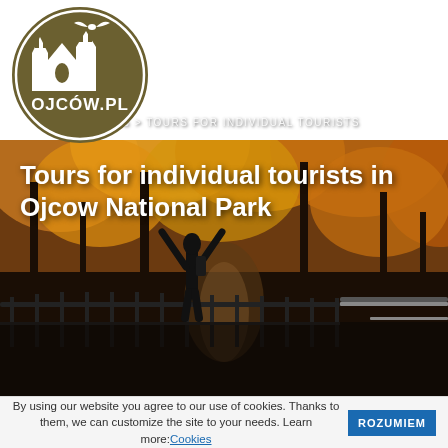[Figure (logo): Ojcow.pl circular logo with castle/ruins silhouette and bat, olive/brown color scheme]
PL | EN
[Figure (infographic): Orange hamburger menu icon with three white horizontal bars]
[Figure (photo): Person standing on a bridge with arms raised in an autumn forest setting with orange and yellow foliage, Ojcow National Park]
TOURS > TOURS FOR INDIVIDUAL TOURISTS
Tours for individual tourists in Ojcow National Park
By using our website you agree to our use of cookies. Thanks to them, we can customize the site to your needs. Learn more: Cookies   ROZUMIEM